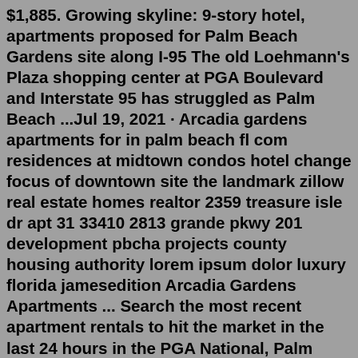$1,885. Growing skyline: 9-story hotel, apartments proposed for Palm Beach Gardens site along I-95 The old Loehmann's Plaza shopping center at PGA Boulevard and Interstate 95 has struggled as Palm Beach ...Jul 19, 2021 · Arcadia gardens apartments for in palm beach fl com residences at midtown condos hotel change focus of downtown site the landmark zillow real estate homes realtor 2359 treasure isle dr apt 31 33410 2813 grande pkwy 201 development pbcha projects county housing authority lorem ipsum dolor luxury florida jamesedition Arcadia Gardens Apartments ... Search the most recent apartment rentals to hit the market in the last 24 hours in the PGA National, Palm Beach Gardens neighborhood. Be the first to contact! Skip main navigation search by city, state, property name, neighborhood, or address. Cities Near Palm Beach Gardens. Lake Park Apartments (217) Royal Palm Beach Apartments (144) Palm Beach Gardens has many gated communities, individual homes and condos with amazing surroundings. You can find...